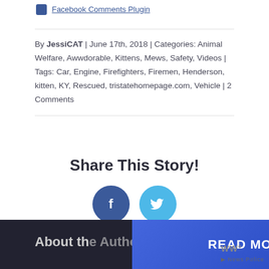[Figure (logo): Facebook icon and 'Facebook Comments Plugin' link at top of page]
By JessiCAT | June 17th, 2018 | Categories: Animal Welfare, Awwdorable, Kittens, Mews, Safety, Videos | Tags: Car, Engine, Firefighters, Firemen, Henderson, kitten, KY, Rescued, tristatehomepage.com, Vehicle | 2 Comments
Share This Story!
[Figure (illustration): Facebook and Twitter social share circular icon buttons]
About the Author: JessiCAT
READ MORE